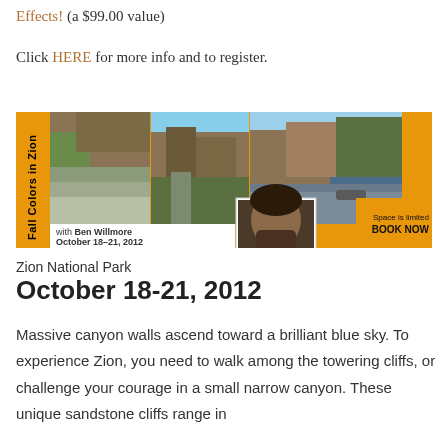Effects! (a $99.00 value)
Click HERE for more info and to register.
[Figure (photo): Promotional banner for 'Fall Colors in Zion' photography workshop with Ben Willmore, October 18-21, 2012. Shows three landscape photos of Zion National Park (canyon walls, river scenes) and a portrait photo of Ben Willmore. Orange background with text 'Space is limited BOOK NOW'.]
Zion National Park
October 18-21, 2012
Massive canyon walls ascend toward a brilliant blue sky. To experience Zion, you need to walk among the towering cliffs, or challenge your courage in a small narrow canyon. These unique sandstone cliffs range in